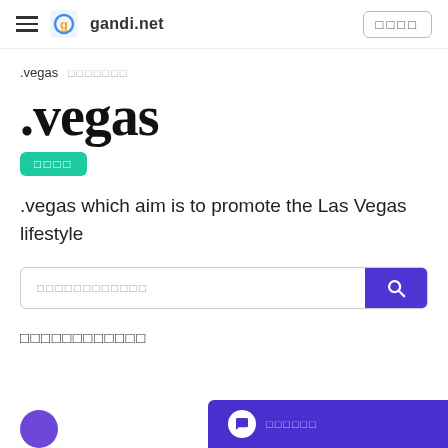gandi.net navigation header
.vegas ▯▯▯▯▯▯▯
.vegas
▯▯▯▯
.vegas which aim is to promote the Las Vegas lifestyle
Search bar with placeholder text
▯▯▯▯▯▯▯▯▯▯▯▯